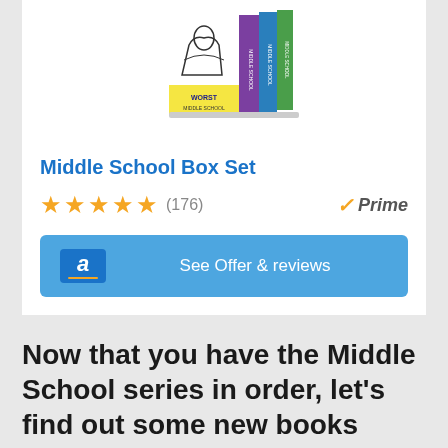[Figure (photo): Middle School Box Set book product image showing a box set of multiple Middle School books]
Middle School Box Set
★★★★★ (176)   ✓Prime
a  See Offer & reviews
Now that you have the Middle School series in order, let's find out some new books
Rafe Khatchadorian's will make you, your children, or all of you laugh out loud. It's a great story that kids